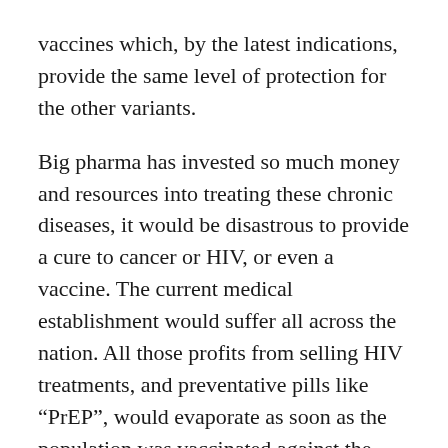vaccines which, by the latest indications, provide the same level of protection for the other variants.
Big pharma has invested so much money and resources into treating these chronic diseases, it would be disastrous to provide a cure to cancer or HIV, or even a vaccine. The current medical establishment would suffer all across the nation. All those profits from selling HIV treatments, and preventative pills like “PrEP”, would evaporate as soon as the population was vaccinated against the disease. It’s simply not in their best interest to develop and release a viable cure for HIV or cancer.
In respect to cancer, we have countless businesses